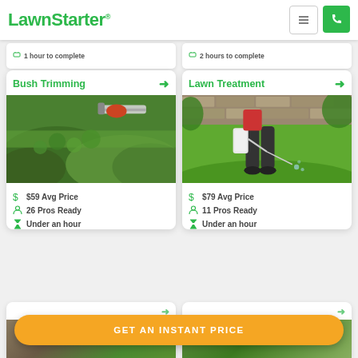LawnStarter
1 hour to complete
2 hours to complete
Bush Trimming →
[Figure (photo): Person using electric hedge trimmer on green bushes]
$59 Avg Price
26 Pros Ready
Under an hour
Lawn Treatment →
[Figure (photo): Person spraying lawn treatment on green grass near stone wall]
$79 Avg Price
11 Pros Ready
Under an hour
GET AN INSTANT PRICE